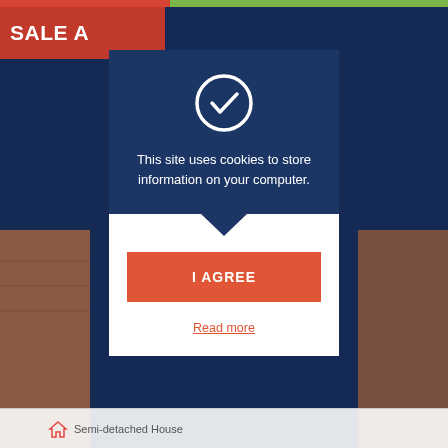[Figure (screenshot): Background photo of a brick semi-detached house with dark navy website header]
SALE A
This site uses cookies to store information on your computer.
I AGREE
Read more
Semi-detached House